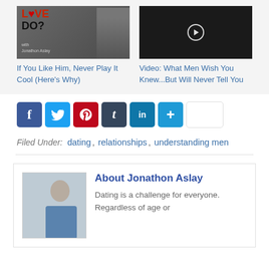[Figure (photo): Thumbnail image for 'If You Like Him, Never Play It Cool (Here's Why)' showing a book/show cover with 'LOVE DO?' text and a smiling man in dark shirt]
If You Like Him, Never Play It Cool (Here's Why)
[Figure (screenshot): Thumbnail for 'Video: What Men Wish You Knew...But Will Never Tell You' showing two people with a play button overlay]
Video: What Men Wish You Knew...But Will Never Tell You
[Figure (infographic): Social sharing buttons row: Facebook, Twitter, Pinterest, Tumblr, LinkedIn, More (+), and a share count box]
Filed Under: dating , relationships , understanding men
[Figure (photo): Photo of Jonathon Aslay, a man in a blue shirt standing against a white wall]
About Jonathon Aslay
Dating is a challenge for everyone. Regardless of age or